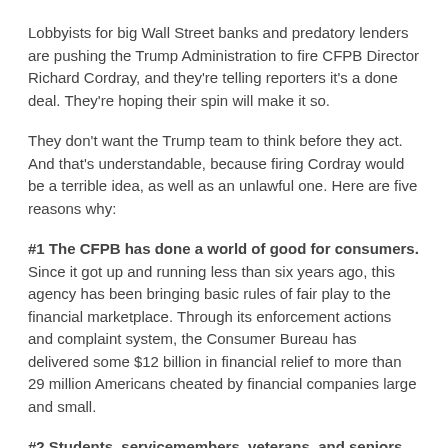Lobbyists for big Wall Street banks and predatory lenders are pushing the Trump Administration to fire CFPB Director Richard Cordray, and they're telling reporters it's a done deal. They're hoping their spin will make it so.
They don't want the Trump team to think before they act. And that's understandable, because firing Cordray would be a terrible idea, as well as an unlawful one. Here are five reasons why:
#1 The CFPB has done a world of good for consumers. Since it got up and running less than six years ago, this agency has been bringing basic rules of fair play to the financial marketplace. Through its enforcement actions and complaint system, the Consumer Bureau has delivered some $12 billion in financial relief to more than 29 million Americans cheated by financial companies large and small.
#2 Students, servicemembers, veterans, and seniors would raise hell. The CFPB has been steadfastly in the corner of our nation's service members and veterans, working with the Defense Department to close loopholes and make sure that the 36 percent